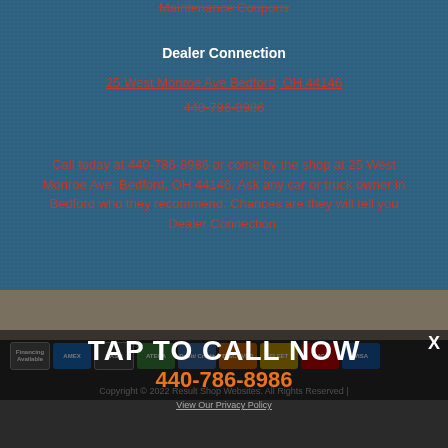Maintenance Coupons
Dealer Connection
25 West Monroe Ave Bedford, OH 44146
440-796-8986
Call today at 440-786-8986 or come by the shop at 25 West Monroe Ave, Bedford, OH 44146. Ask any car or truck owner in Bedford who they recommend. Chances are they will tell you Dealer Connection.
TAP TO CALL NOW
440-786-8986
Copyright © 2022 Result Shop Websites. All Rights Reserved | View Our Privacy Policy